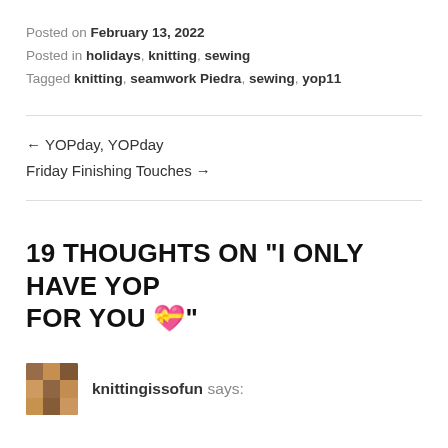Posted on February 13, 2022
Posted in holidays, knitting, sewing
Tagged knitting, seamwork Piedra, sewing, yop11
← YOPday, YOPday
Friday Finishing Touches →
19 THOUGHTS ON "I ONLY HAVE YOP FOR YOU 💝"
knittingissofun says: